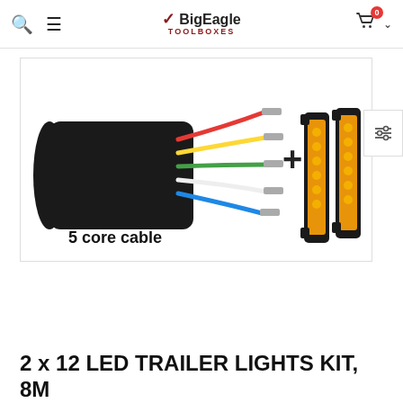BigEagle TOOLBOXES
[Figure (photo): Product photo showing a 5 core cable with colored wires on the left, a plus sign in the middle, and two amber/yellow LED marker lights on the right, with text '5 core cable' below the cable image.]
2 x 12 LED TRAILER LIGHTS KIT, 8M 5 Core CABLE, 2 x Yellow Side